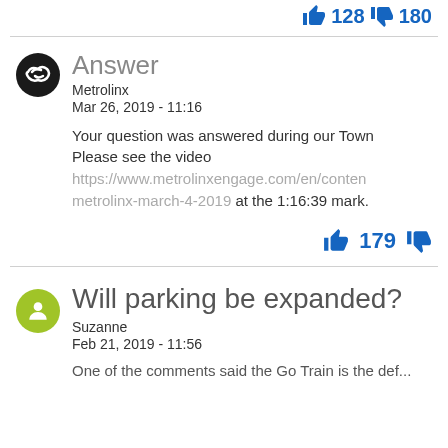[Figure (infographic): Thumbs up icon with count 128 and thumbs down icon with count 180 in blue]
Answer
Metrolinx
Mar 26, 2019 - 11:16
Your question was answered during our Town Please see the video https://www.metrolinxengage.com/en/conten metrolinx-march-4-2019 at the 1:16:39 mark.
[Figure (infographic): Thumbs up icon with count 179 and thumbs down icon in blue]
Will parking be expanded?
Suzanne
Feb 21, 2019 - 11:56
One of the comments said the Go Train is the def...